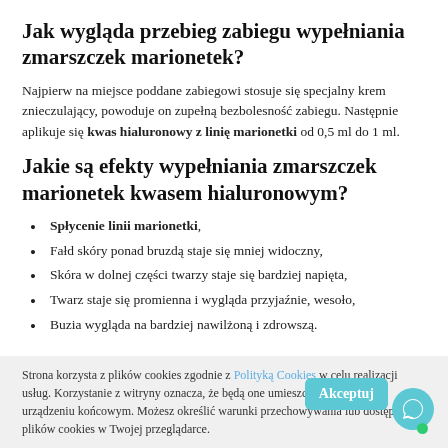Jak wygląda przebieg zabiegu wypełniania zmarszczek marionetek?
Najpierw na miejsce poddane zabiegowi stosuje się specjalny krem znieczulający, powoduje on zupełną bezbolesność zabiegu. Następnie aplikuje się kwas hialuronowy z linię marionetki od 0,5 ml do 1 ml.
Jakie są efekty wypełniania zmarszczek marionetek kwasem hialuronowym?
Spłycenie linii marionetki,
Fałd skóry ponad bruzdą staje się mniej widoczny,
Skóra w dolnej części twarzy staje się bardziej napięta,
Twarz staje się promienna i wygląda przyjaźnie, wesoło,
Buzia wygląda na bardziej nawilżoną i zdrowszą.
Strona korzysta z plików cookies zgodnie z Polityką Cookies w celu realizacji usług. Korzystanie z witryny oznacza, że będą one umieszczane w Twoim urządzeniu końcowym. Możesz określić warunki przechowywania lub dostępu do plików cookies w Twojej przeglądarce.